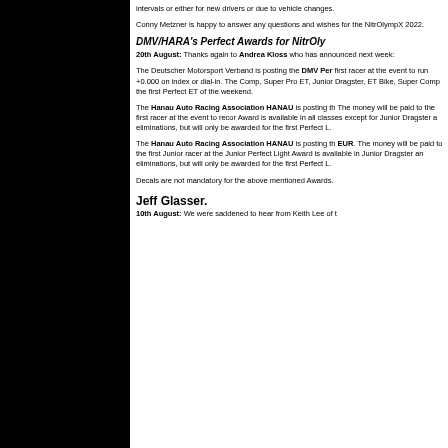intervals or either for new drivers or due to vehicle changes.
Conny Metzner is happy to answer any questions and wishes for the NitrOlympX 2022.
DMV/HARA's Perfect Awards for NitrOly...
20th August: Thanks again to Andrea Kloss who has announced next week:
The Deutscher Motorsport Verband is posting the DMV Per... first racer at the event to run +0.000 on index or dial-in. The Comp, Super Pro ET, Junior Dragster, ET Bike, Super Comp... the first Perfect ET of the weekend.
The Hanau Auto Racing Association HANAU is posting th... The money will be paid to the first racer at the event to recor... Award is available in all classes except for Junior Dragster a... eliminations, but will only be awarded for the first Perfect L...
The Hanau Auto Racing Association HANAU is posting th... EUR. The money will be paid to the first Junior racer at the... Junior Perfect Light Award is available in Junior Dragster an... eliminations, but will only be awarded for the first Perfect L...
Decals are not mandatory for the above mentioned Awards.
Jeff Glasser.
10th August: We were saddened to hear from Keith Lee of t...